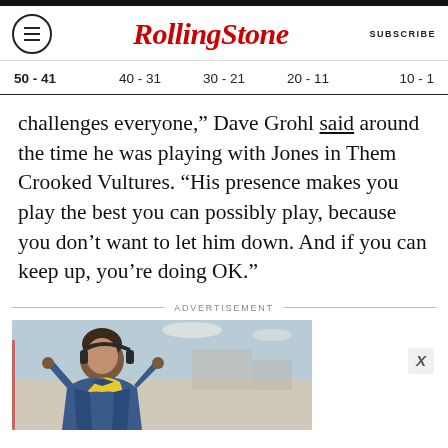RollingStone | SUBSCRIBE
50 - 41   40 - 31   30 - 21   20 - 11   10 - 1
challenges everyone,” Dave Grohl said around the time he was playing with Jones in Them Crooked Vultures. “His presence makes you play the best you can possibly play, because you don’t want to let him down. And if you can keep up, you’re doing OK.”
ADVERTISEMENT
[Figure (photo): Advertisement photo showing a person in a blue jacket with a yellow accent, appearing to be in a public indoor space such as a store or airport.]